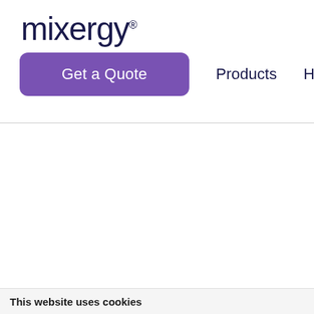[Figure (logo): Mixergy logo with trademark symbol in dark navy text]
Get a Quote
Products
Homeo
This website uses cookies